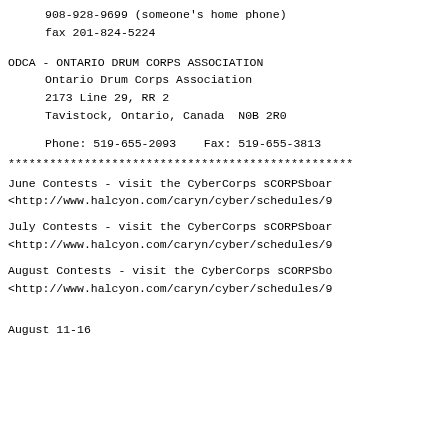908-928-9699 (someone's home phone)
    fax 201-824-5224
ODCA - ONTARIO DRUM CORPS ASSOCIATION
    Ontario Drum Corps Association
    2173 Line 29, RR 2
    Tavistock, Ontario, Canada  N0B 2R0

    Phone: 519-655-2093    Fax: 519-655-3813
********************************************
June Contests - visit the CyberCorps sCORPSboard
<http://www.halcyon.com/caryn/cyber/schedules/9
July Contests - visit the CyberCorps sCORPSboard
<http://www.halcyon.com/caryn/cyber/schedules/9
August Contests - visit the CyberCorps sCORPSbo
<http://www.halcyon.com/caryn/cyber/schedules/9
August 11-16